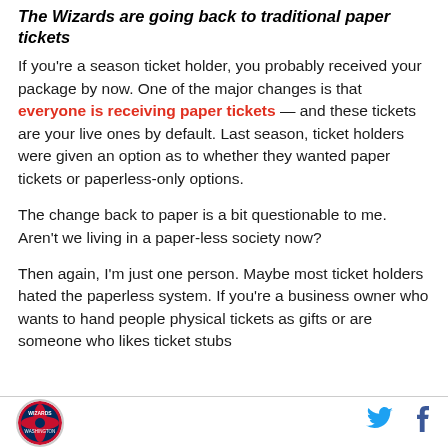The Wizards are going back to traditional paper tickets
If you're a season ticket holder, you probably received your package by now. One of the major changes is that everyone is receiving paper tickets — and these tickets are your live ones by default. Last season, ticket holders were given an option as to whether they wanted paper tickets or paperless-only options.
The change back to paper is a bit questionable to me. Aren't we living in a paper-less society now?
Then again, I'm just one person. Maybe most ticket holders hated the paperless system. If you're a business owner who wants to hand people physical tickets as gifts or are someone who likes ticket stubs
[Figure (logo): Wizards/NBA circular logo in footer]